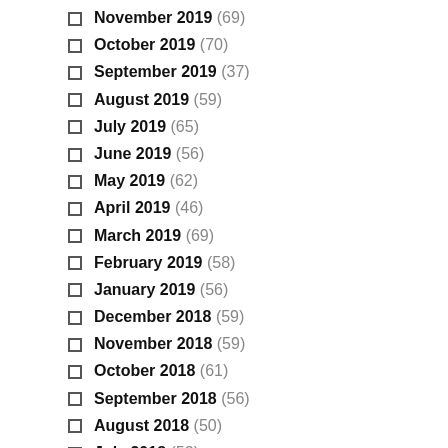November 2019 (69)
October 2019 (70)
September 2019 (37)
August 2019 (59)
July 2019 (65)
June 2019 (56)
May 2019 (62)
April 2019 (46)
March 2019 (69)
February 2019 (58)
January 2019 (56)
December 2018 (59)
November 2018 (59)
October 2018 (61)
September 2018 (56)
August 2018 (50)
July 2018 (52)
June 2018 (55)
May 2018 (55)
April 2018 (54)
March 2018 (57)